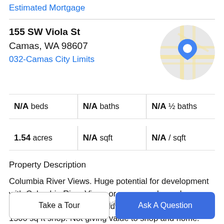Estimated Mortgage
155 SW Viola St
Camas, WA 98607
032-Camas City Limits
[Figure (map): Circular map thumbnail showing street map with blue location pin marker]
|  |  |  |
| --- | --- | --- |
| N/A beds | N/A baths | N/A ½ baths |
| 1.54 acres | N/A sqft | N/A / sqft |
Property Description
Columbia River Views. Huge potential for development with Columbia River Views or your own dream home. Possible 3 view homes could be built. 1 shared well. 1500 sq ft shop. Not giving value to shop and home. They need
lots of work. Park at gate and walk in. 3 bx parcel. Seller
Take a Tour
Ask A Question